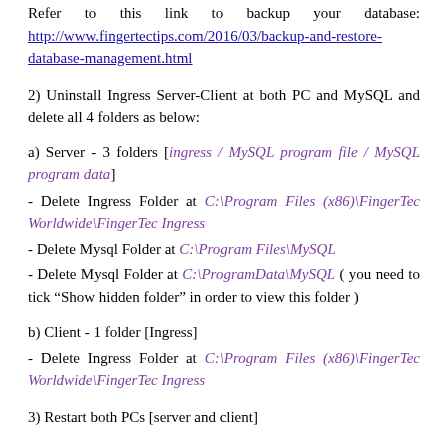Refer to this link to backup your database: http://www.fingertectips.com/2016/03/backup-and-restore-database-management.html
2) Uninstall Ingress Server-Client at both PC and MySQL and delete all 4 folders as below:
a) Server - 3 folders [ingress / MySQL program file / MySQL program data]
- Delete Ingress Folder at C:\Program Files (x86)\FingerTec Worldwide\FingerTec Ingress
- Delete Mysql Folder at C:\Program Files\MySQL
- Delete Mysql Folder at C:\ProgramData\MySQL ( you need to tick “Show hidden folder” in order to view this folder )
b) Client - 1 folder [Ingress]
- Delete Ingress Folder at C:\Program Files (x86)\FingerTec Worldwide\FingerTec Ingress
3) Restart both PCs [server and client]